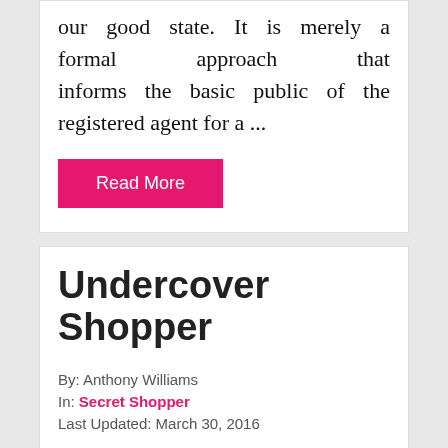our good state. It is merely a formal approach that informs the basic public of the registered agent for a ...
Read More
Undercover Shopper
By: Anthony Williams
In: Secret Shopper
Last Updated: March 30, 2016
[Figure (illustration): Broken image placeholder labeled 'Secret Shopper']